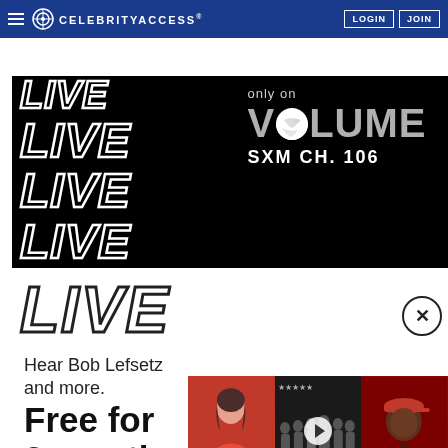CELEBRITYACCESS. LOGIN JOIN
[Figure (advertisement): SiriusXM advertisement: LIVE repeated four times in outlined bold italic text on black background, with 'only on VOLUME SXM CH. 106' on the right side. Below, on white background: large outlined LIVE, 'Hear Bob Lefsetz and more.', 'Free for 3 months', 'With new subscription. See Offer Details.', SXM logo with soundwaves. Bottom-right thumbnail strip shows three celebrity photos with a video play button overlay.]